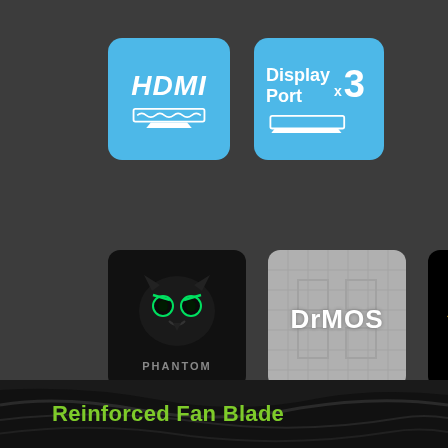[Figure (logo): HDMI blue badge icon with HDMI text and connector symbol]
[Figure (logo): DisplayPort x3 blue badge icon with DisplayPort text, x3 multiplier, and connector symbol]
[Figure (logo): Phantom Gaming black badge with glowing green owl/phantom mascot and PHANTOM text]
[Figure (logo): DrMOS grey badge with DrMOS text and circuit pattern]
[Figure (logo): Super Speed emblem black badge with gold wing and red circular emblem]
[Figure (photo): Dark close-up photo of reinforced fan blade]
Reinforced Fan Blade